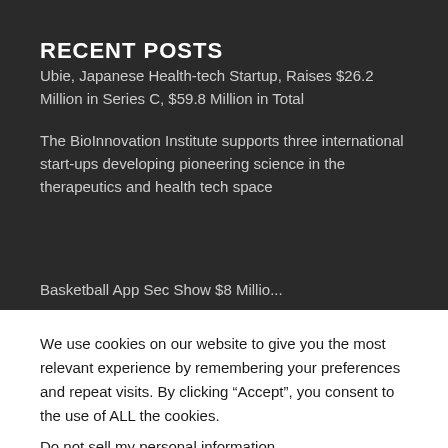RECENT POSTS
Ubie, Japanese Health-tech Startup, Raises $26.2 Million in Series C, $59.8 Million in Total
The BioInnovation Institute supports three international start-ups developing pioneering science in the therapeutics and health tech space
Basketball App Sec Show $8 Millio...
We use cookies on our website to give you the most relevant experience by remembering your preferences and repeat visits. By clicking “Accept”, you consent to the use of ALL the cookies.
Do not sell my personal information.